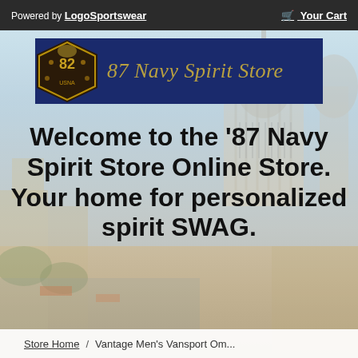Powered by LogoSportswear   Your Cart
[Figure (logo): 87 Navy Spirit Store banner logo with navy blue background, gold eagle/crest emblem on left, and italic gold text reading '87 Navy Spirit Store' on right]
Welcome to the '87 Navy Spirit Store Online Store. Your home for personalized spirit SWAG.
Store Home  /  Vantage Men's Vansport Om...